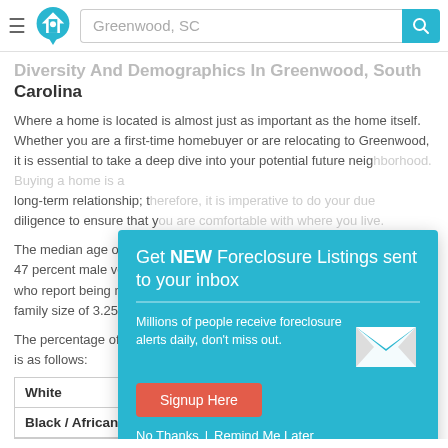Greenwood, SC
Diversity And Demographics In Greenwood, South Carolina
Where a home is located is almost just as important as the home itself. Whether you are a first-time homebuyer or are relocating to Greenwood, it is essential to take a deep dive into your potential future neighborhood. Buying a home is a long-term relationship; therefore, it is imperative to do your due diligence to ensure that you are comfortable with where you live.
The median age of residents in Greenwood is 36, with 47 percent male versus 53 percent female. The percentage who report being married is 36 and the average family size of 3.25.
The percentage of residents that report their race is as follows:
[Figure (infographic): Popup advertisement: Get NEW Foreclosure Listings sent to your inbox. Millions of people receive foreclosure alerts daily, don't miss out. Signup Here button. No Thanks | Remind Me Later links.]
| Race | Percentage |
| --- | --- |
| White | 48.3% |
| Black / African American | 46.4% |